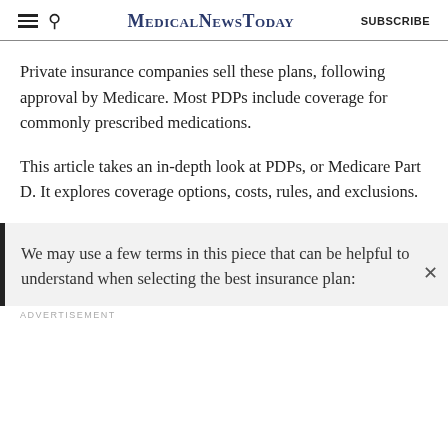MedicalNewsToday  SUBSCRIBE
Private insurance companies sell these plans, following approval by Medicare. Most PDPs include coverage for commonly prescribed medications.
This article takes an in-depth look at PDPs, or Medicare Part D. It explores coverage options, costs, rules, and exclusions.
We may use a few terms in this piece that can be helpful to understand when selecting the best insurance plan:
ADVERTISEMENT